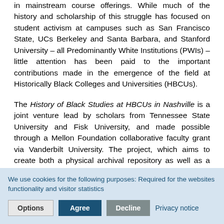in mainstream course offerings. While much of the history and scholarship of this struggle has focused on student activism at campuses such as San Francisco State, UCs Berkeley and Santa Barbara, and Stanford University – all Predominantly White Institutions (PWIs) – little attention has been paid to the important contributions made in the emergence of the field at Historically Black Colleges and Universities (HBCUs).
The History of Black Studies at HBCUs in Nashville is a joint venture lead by scholars from Tennessee State University and Fisk University, and made possible through a Mellon Foundation collaborative faculty grant via Vanderbilt University. The project, which aims to create both a physical archival repository as well as a digital exhibition, will contain printed material such as newspaper articles, course catalogues and syllabi, as well as oral histories and videos that showcase the rich history of Black Studies in the heart of Music City, emphasizing the region's central role in the discipline as a whole, as well as cementing its reputation as a focal point for civil rights
We use cookies for the following purposes: Required for the websites functionality and visitor statistics
Options | Agree | Decline | Privacy notice